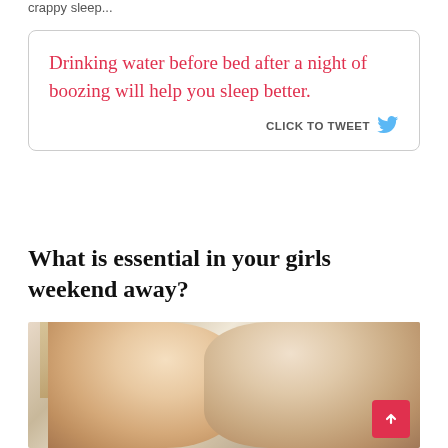crappy sleep...
Drinking water before bed after a night of boozing will help you sleep better.
CLICK TO TWEET
What is essential in your girls weekend away?
[Figure (photo): Two women with blonde and brown hair in close-up portrait]